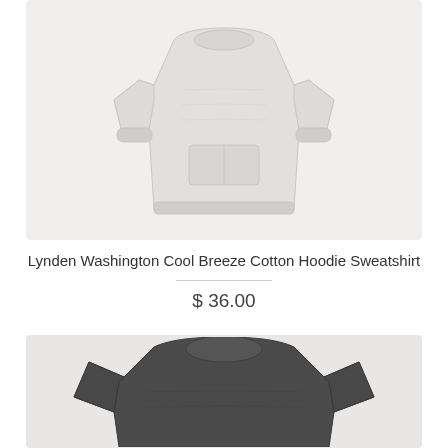[Figure (photo): Light heather gray cotton hoodie sweatshirt displayed on white background, showing front with kangaroo pocket]
Lynden Washington Cool Breeze Cotton Hoodie Sweatshirt
$ 36.00
[Figure (photo): Dark charcoal gray crew neck t-shirt displayed on light gray background, showing upper portion of front]